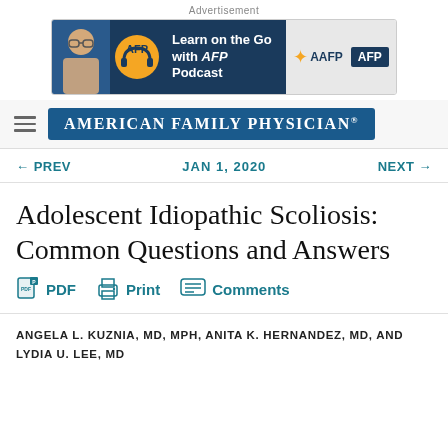[Figure (other): Advertisement banner for AFP Podcast: 'Learn on the Go with AFP Podcast' with AAFP and AFP logos]
[Figure (logo): American Family Physician journal logo on dark blue background with hamburger menu icon]
← PREV    JAN 1, 2020    NEXT →
Adolescent Idiopathic Scoliosis: Common Questions and Answers
PDF   Print   Comments
ANGELA L. KUZNIA, MD, MPH, ANITA K. HERNANDEZ, MD, AND LYDIA U. LEE, MD